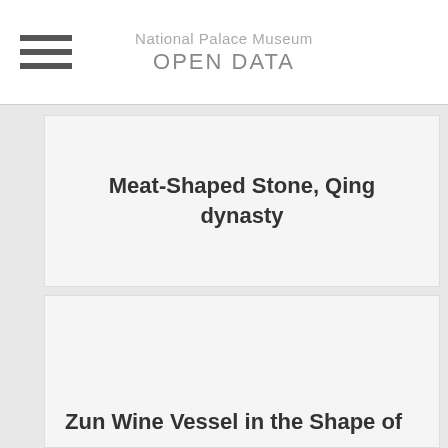National Palace Museum OPEN DATA
Meat-Shaped Stone, Qing dynasty
[Figure (photo): Empty white card placeholder for a second museum artifact image]
Zun Wine Vessel in the Shape of